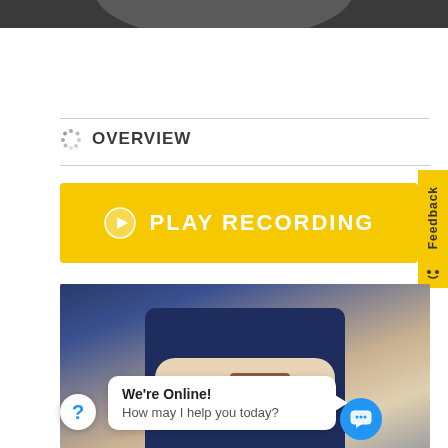[Figure (photo): Top cropped photo of a person, dark background]
OVERVIEW
[Figure (other): Yellow PLAY RECORDING button with play icon]
[Figure (photo): Person in suit, hands with wallet]
We're Online!
How may I help you today?